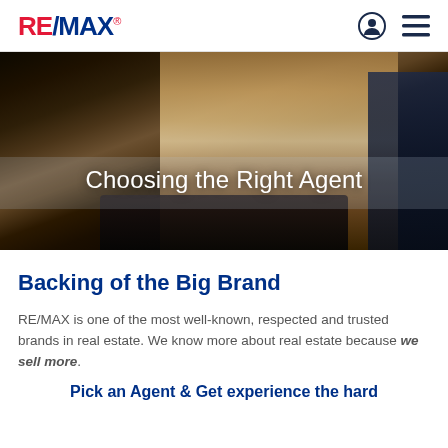RE/MAX
[Figure (photo): Woman talking on phone at a desk, in a dark office/library setting, smiling. Hero banner image.]
Choosing the Right Agent
Backing of the Big Brand
RE/MAX is one of the most well-known, respected and trusted brands in real estate. We know more about real estate because we sell more.
Pick an Agent & Get experience the hard...